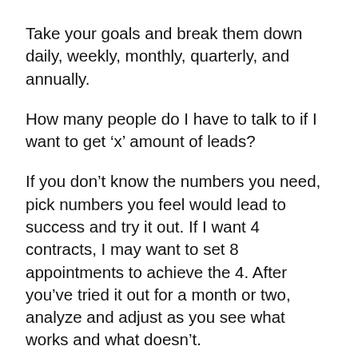Take your goals and break them down daily, weekly, monthly, quarterly, and annually.
How many people do I have to talk to if I want to get ‘x’ amount of leads?
If you don’t know the numbers you need, pick numbers you feel would lead to success and try it out. If I want 4 contracts, I may want to set 8 appointments to achieve the 4. After you’ve tried it out for a month or two, analyze and adjust as you see what works and what doesn’t.
Set a time every day, week, month, quarter, and year to check up on your tracking. Think “How did I do this week?” and “What can I do